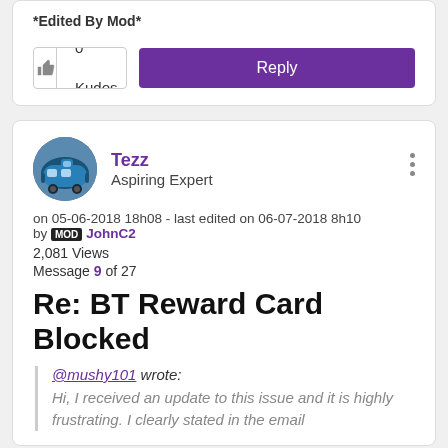*Edited By Mod*
0 Kudos
Reply
Tezz
Aspiring Expert
on 05-06-2018 18h08 - last edited on 06-07-2018 8h10 by MOD JohnC2
2,081 Views
Message 9 of 27
Re: BT Reward Card Blocked
@mushy101 wrote:
Hi, I received an update to this issue and it is highly frustrating. I clearly stated in the email